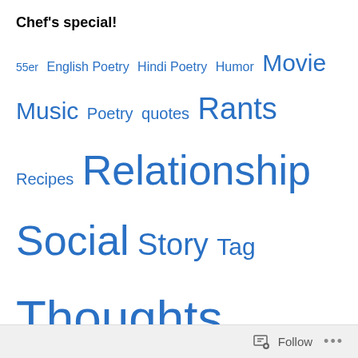Chef's special!
55er  English Poetry  Hindi Poetry  Humor  Movie  Music  Poetry  quotes  Rants  Recipes  Relationship  Social  Story  Tag  Thoughts  Tips
Inbox me!
Enter your email address to subscribe to this blog and receive notifications of new posts by email.
Enter your email address
Sign me up!
Follow ...